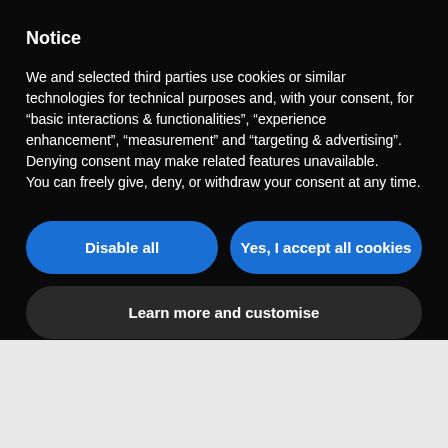Notice
We and selected third parties use cookies or similar technologies for technical purposes and, with your consent, for “basic interactions & functionalities”, “experience enhancement”, “measurement” and “targeting & advertising”. Denying consent may make related features unavailable.
You can freely give, deny, or withdraw your consent at any time.
Disable all
Yes, I accept all cookies
Learn more and customise